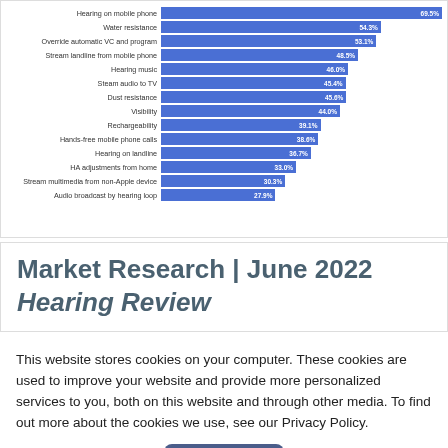[Figure (bar-chart): Hearing aid features importance]
Market Research | June 2022 Hearing Review
This website stores cookies on your computer. These cookies are used to improve your website and provide more personalized services to you, both on this website and through other media. To find out more about the cookies we use, see our Privacy Policy.